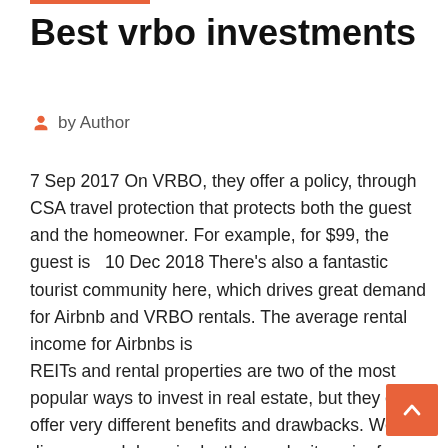Best vrbo investments
by Author
7 Sep 2017 On VRBO, they offer a policy, through CSA travel protection that protects both the guest and the homeowner. For example, for $99, the guest is  10 Dec 2018 There's also a fantastic tourist community here, which drives great demand for Airbnb and VRBO rentals. The average rental income for Airbnbs is
REITs and rental properties are two of the most popular ways to invest in real estate, but they each offer very different benefits and drawbacks. We discuss each here in depth to make it easier for you to evaluate your options. REITs vs Rentals: What's the Best Way to Invest in Real Estate? Unlike public market investments, which can Are Vacation Rentals ever cash flow positive? I just finished reading Christine Karpinski's book 'How to Rent Vacation Properties by Owner' The slant of it was that if you manage yourself and use portals